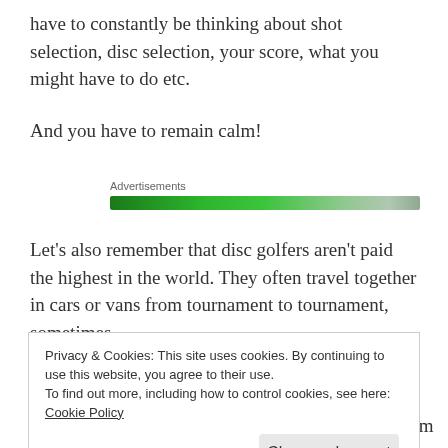have to constantly be thinking about shot selection, disc selection, your score, what you might have to do etc.
And you have to remain calm!
[Figure (other): Advertisements banner — a green gradient bar labeled 'Advertisements']
Let's also remember that disc golfers aren't paid the highest in the world. They often travel together in cars or vans from tournament to tournament, sometimes
Privacy & Cookies: This site uses cookies. By continuing to use this website, you agree to their use.
To find out more, including how to control cookies, see here: Cookie Policy
So below, after we check in with last week's poll, I'm